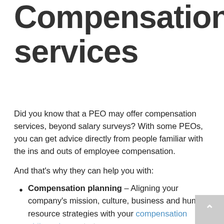Compensation services
Did you know that a PEO may offer compensation services, beyond salary surveys? With some PEOs, you can get advice directly from people familiar with the ins and outs of employee compensation.
And that's why they can help you with:
Compensation planning – Aligning your company's mission, culture, business and human resource strategies with your compensation philosophy or strategy.
Compensation philosophy/strategy – Developing a compensation structure that brings together the various elements of